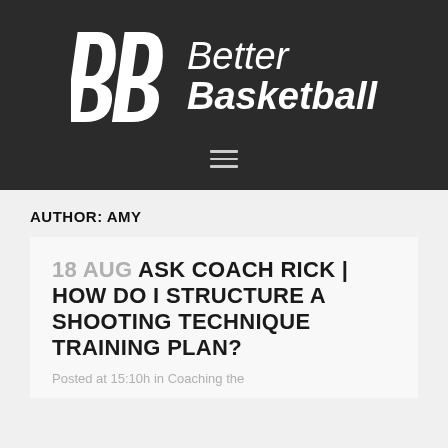[Figure (logo): Better Basketball logo with stylized BB letters in white on dark background, with italic text 'Better Basketball']
AUTHOR: AMY
18 AUG ASK COACH RICK | HOW DO I STRUCTURE A SHOOTING TECHNIQUE TRAINING PLAN?
Posted at 15:10h in Coaching the